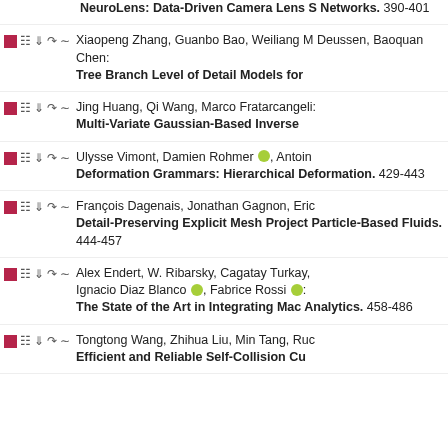NeuroLens: Data-Driven Camera Lens S Networks. 390-401
Xiaopeng Zhang, Guanbo Bao, Weiliang M Deussen, Baoquan Chen: Tree Branch Level of Detail Models for
Jing Huang, Qi Wang, Marco Fratarcangeli: Multi-Variate Gaussian-Based Inverse
Ulysse Vimont, Damien Rohmer, Antoine: Deformation Grammars: Hierarchical Deformation. 429-443
François Dagenais, Jonathan Gagnon, Eric: Detail-Preserving Explicit Mesh Project Particle-Based Fluids. 444-457
Alex Endert, W. Ribarsky, Cagatay Turkay, Ignacio Diaz Blanco, Fabrice Rossi: The State of the Art in Integrating Mac Analytics. 458-486
Tongtong Wang, Zhihua Liu, Min Tang, Ruc: Efficient and Reliable Self-Collision Cu